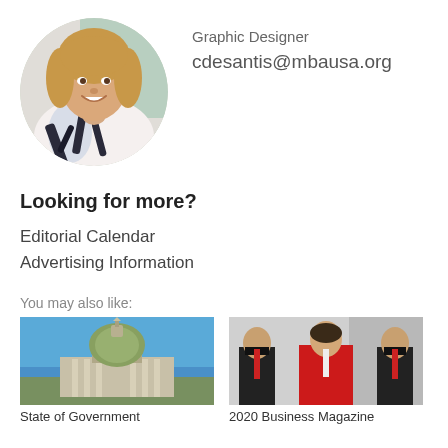[Figure (photo): Circular profile photo of a smiling woman with blonde hair wearing a black and white patterned blouse]
Graphic Designer
cdesantis@mbausa.org
Looking for more?
Editorial Calendar
Advertising Information
You may also like:
[Figure (photo): Photo of the Pennsylvania State Capitol building dome against a blue sky]
[Figure (photo): Photo of three business professionals, a woman in red dress flanked by two men in dark suits]
State of Government
2020 Business Magazine